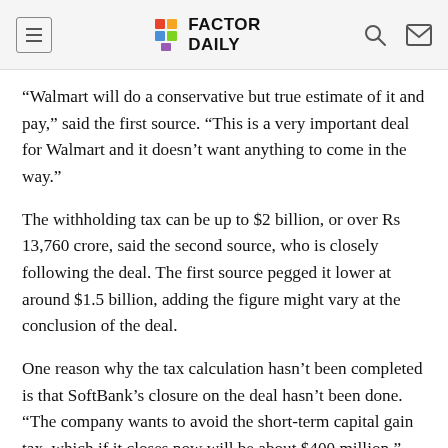FACTOR DAILY
“Walmart will do a conservative but true estimate of it and pay,” said the first source. “This is a very important deal for Walmart and it doesn’t want anything to come in the way.”
The withholding tax can be up to $2 billion, or over Rs 13,760 crore, said the second source, who is closely following the deal. The first source pegged it lower at around $1.5 billion, adding the figure might vary at the conclusion of the deal.
One reason why the tax calculation hasn’t been completed is that SoftBank’s closure on the deal hasn’t been done. “The company wants to avoid the short-term capital gain tax, which if it closes now will be about $400 million,” said the first source.